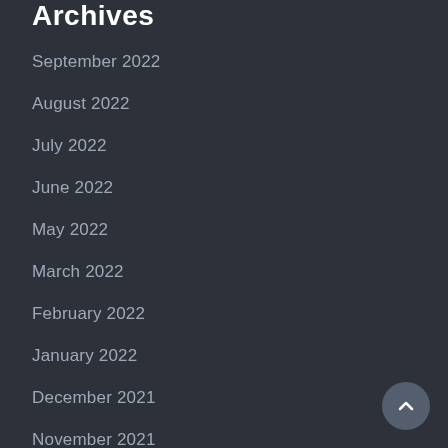Archives
September 2022
August 2022
July 2022
June 2022
May 2022
March 2022
February 2022
January 2022
December 2021
November 2021
October 2021
September 2021
August 2021